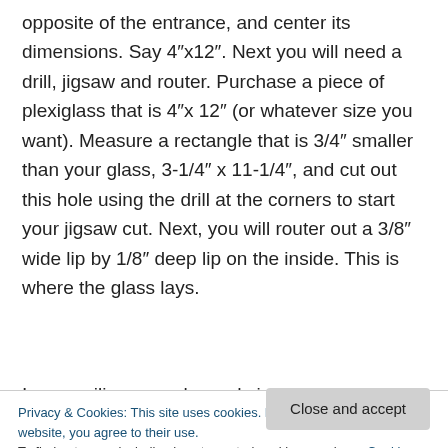opposite of the entrance, and center its dimensions. Say 4"x12". Next you will need a drill, jigsaw and router. Purchase a piece of plexiglass that is 4"x 12" (or whatever size you want). Measure a rectangle that is 3/4" smaller than your glass, 3-1/4" x 11-1/4", and cut out this hole using the drill at the corners to start your jigsaw cut. Next, you will router out a 3/8" wide lip by 1/8" deep lip on the inside. This is where the glass lays.
I use a silicone sealer and six tiny brass screws
Privacy & Cookies: This site uses cookies. By continuing to use this website, you agree to their use.
To find out more, including how to control cookies, see here: Cookie Policy
You can make supports or attach hinges to hold